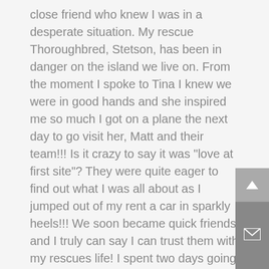close friend who knew I was in a desperate situation. My rescue Thoroughbred, Stetson, has been in danger on the island we live on. From the moment I spoke to Tina I knew we were in good hands and she inspired me so much I got on a plane the next day to go visit her, Matt and their team!!! Is it crazy to say it was "love at first site"? They were quite eager to find out what I was all about as I jumped out of my rent a car in sparkly heels!!! We soon became quick friends and I truly can say I can trust them with my rescues life! I spent two days going to the Rescue and they spent as much time as I needed showing me around and letting me ask question after question! Getting Stetson off an island and doing an